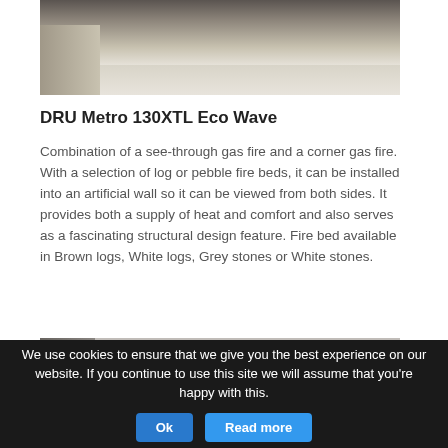[Figure (photo): Partial view of a modern living room with white fluffy rug, candles on a table, and dark furniture legs visible at top]
DRU Metro 130XTL Eco Wave
Combination of a see-through gas fire and a corner gas fire. With a selection of log or pebble fire beds, it can be installed into an artificial wall so it can be viewed from both sides. It provides both a supply of heat and comfort and also serves as a fascinating structural design feature. Fire bed available in Brown logs, White logs, Grey stones or White stones.
[Figure (photo): Partial view of a modern fireplace installation with grey/dark panel and decorative vases]
We use cookies to ensure that we give you the best experience on our website. If you continue to use this site we will assume that you're happy with this.